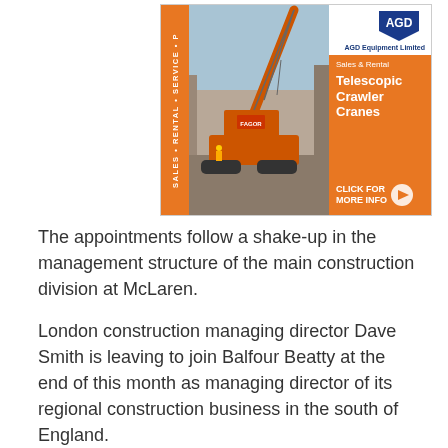[Figure (illustration): AGD Equipment Limited advertisement banner showing a telescopic crawler crane (orange) on a construction site with vertical orange strip on left reading 'SALES • RENTAL • SERVICE • P'. Right panel is orange with AGD logo (blue shield) at top on white background, text 'Sales & Rental', 'Telescopic Crawler Cranes', and 'CLICK FOR MORE INFO' with arrow.]
The appointments follow a shake-up in the management structure of the main construction division at McLaren.
London construction managing director Dave Smith is leaving to join Balfour Beatty at the end of this month as managing director of its regional construction business in the south of England.